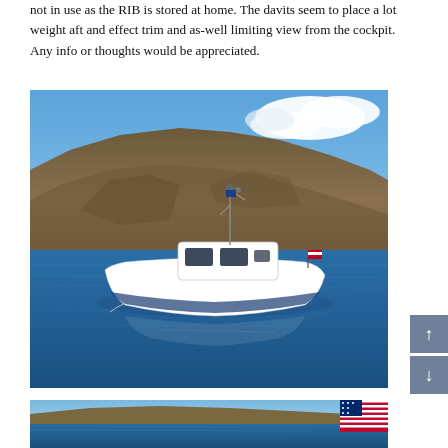not in use as the RIB is stored at home. The davits seem to place a lot weight aft and effect trim and as-well limiting view from the cockpit. Any info or thoughts would be appreciated.
[Figure (photo): A white motor boat with a cabin, anchored on blue water with rocky hills and blue sky with clouds in the background. A small flag is visible at the stern.]
[Figure (photo): Partial view of another scene on water, with an American flag visible at the right edge, partially cut off.]